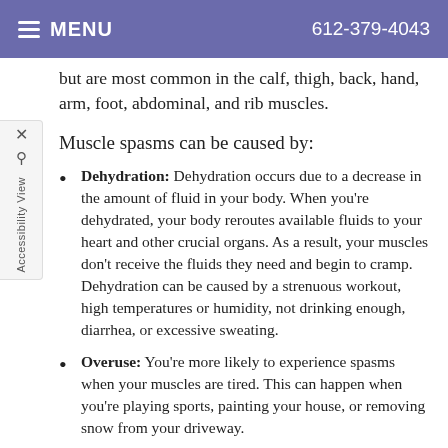MENU  612-379-4043
but are most common in the calf, thigh, back, hand, arm, foot, abdominal, and rib muscles.
Muscle spasms can be caused by:
Dehydration: Dehydration occurs due to a decrease in the amount of fluid in your body. When you're dehydrated, your body reroutes available fluids to your heart and other crucial organs. As a result, your muscles don't receive the fluids they need and begin to cramp. Dehydration can be caused by a strenuous workout, high temperatures or humidity, not drinking enough, diarrhea, or excessive sweating.
Overuse: You're more likely to experience spasms when your muscles are tired. This can happen when you're playing sports, painting your house, or removing snow from your driveway.
Inactivity: Did your spasms start after you decided you needed more exercise? Your muscles may be more likely to cramp if you begin a vigorous fitness